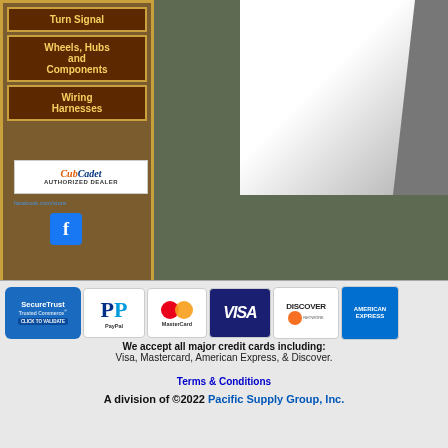Turn Signal
Wheels, Hubs and Components
Wiring Harnesses
[Figure (logo): Cub Cadet Authorized Dealer badge]
[Figure (logo): Facebook icon button]
[Figure (logo): SecureTrust Trusted Commerce - Click to Validate badge]
[Figure (logo): PayPal payment badge]
[Figure (logo): MasterCard payment badge]
[Figure (logo): VISA payment badge]
[Figure (logo): Discover Network payment badge]
[Figure (logo): American Express payment badge]
We accept all major credit cards including: Visa, Mastercard, American Express, & Discover.
Terms & Conditions
A division of ©2022 Pacific Supply Group, Inc.